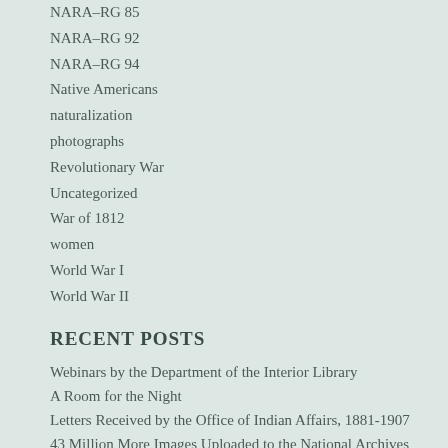NARA–RG 85
NARA–RG 92
NARA–RG 94
Native Americans
naturalization
photographs
Revolutionary War
Uncategorized
War of 1812
women
World War I
World War II
RECENT POSTS
Webinars by the Department of the Interior Library
A Room for the Night
Letters Received by the Office of Indian Affairs, 1881-1907
43 Million More Images Uploaded to the National Archives Catalog Since June 2021